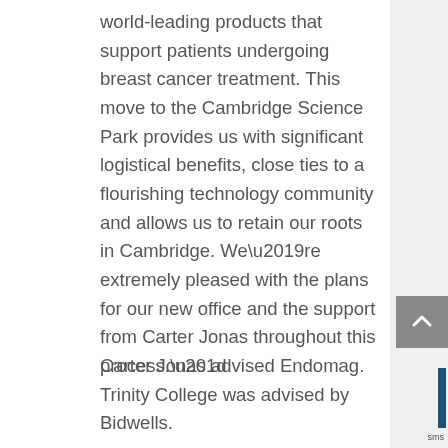world-leading products that support patients undergoing breast cancer treatment. This move to the Cambridge Science Park provides us with significant logistical benefits, close ties to a flourishing technology community and allows us to retain our roots in Cambridge. We’re extremely pleased with the plans for our new office and the support from Carter Jonas throughout this process.”
Carter Jonas advised Endomag. Trinity College was advised by Bidwells.